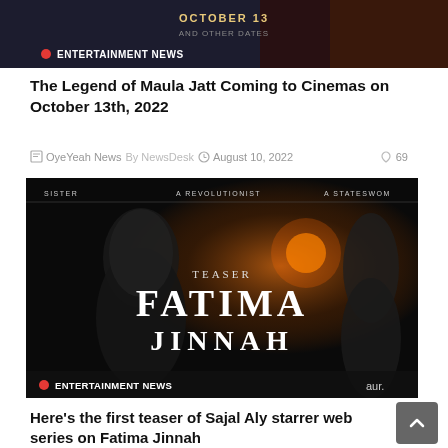[Figure (screenshot): Top banner image showing a dark movie promotional image with 'OCTOBER 13' text and 'ENTERTAINMENT NEWS' badge with red dot]
The Legend of Maula Jatt Coming to Cinemas on October 13th, 2022
OyeYeah News  By NewsDesk   August 10, 2022    69
[Figure (screenshot): Fatima Jinnah web series teaser promotional image — dark atmospheric movie poster showing silhouetted figures with 'TEASER FATIMA JINNAH' large text, labels 'SISTER', 'A REVOLUTIONIST', 'A STATESWOMAN' at top, 'ENTERTAINMENT NEWS' badge at bottom left, 'aur.' logo at bottom]
Here's the first teaser of Sajal Aly starrer web series on Fatima Jinnah